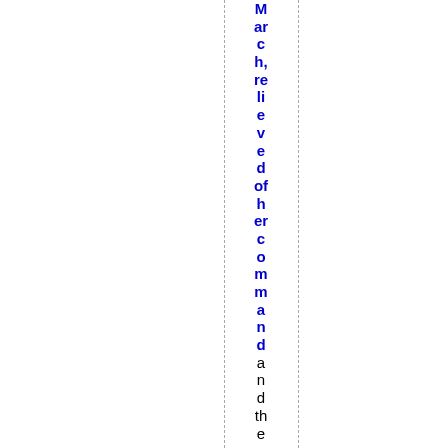March, relieved of her command and then taken by